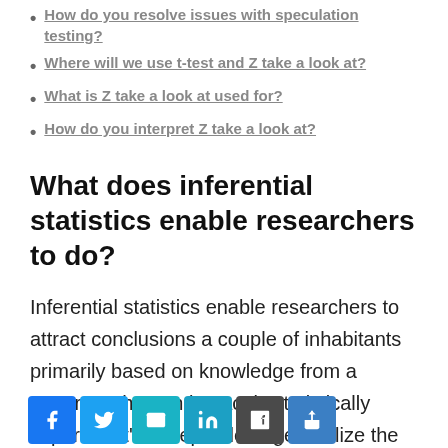How do you resolve issues with speculation testing?
Where will we use t-test and Z take a look at?
What is Z take a look at used for?
How do you interpret Z take a look at?
What does inferential statistics enable researchers to do?
Inferential statistics enable researchers to attract conclusions a couple of inhabitants primarily based on knowledge from a pattern. When an impact is statistically important it’s acceptable to generalize the outcomes from the pattern to the inhabitants.
What is inferential statistics in